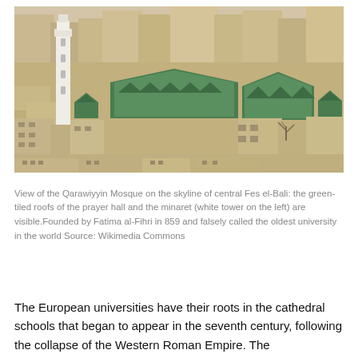[Figure (photo): Aerial view of the Qarawiyyin Mosque on the skyline of central Fes el-Bali, showing green-tiled roofs of the prayer hall and a white minaret tower on the left, surrounded by dense urban buildings in sandy/beige tones.]
View of the Qarawiyyin Mosque on the skyline of central Fes el-Bali: the green-tiled roofs of the prayer hall and the minaret (white tower on the left) are visible.Founded by Fatima al-Fihri in 859 and falsely called the oldest university in the world Source: Wikimedia Commons
The European universities have their roots in the cathedral schools that began to appear in the seventh century, following the collapse of the Western Roman Empire. The